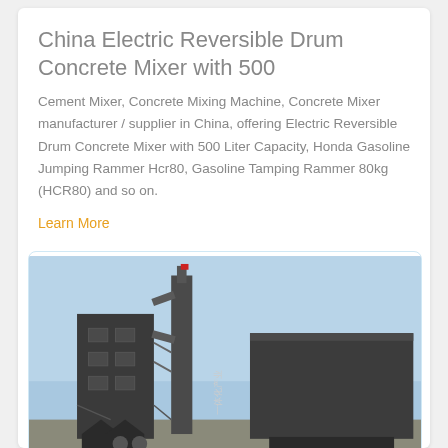China Electric Reversible Drum Concrete Mixer with 500
Cement Mixer, Concrete Mixing Machine, Concrete Mixer manufacturer / supplier in China, offering Electric Reversible Drum Concrete Mixer with 500 Liter Capacity, Honda Gasoline Jumping Rammer Hcr80, Gasoline Tamping Rammer 80kg (HCR80) and so on.
Learn More
[Figure (photo): Industrial concrete mixing plant with dark metal silos and a large rectangular storage/mixing unit, photographed against a blue sky.]